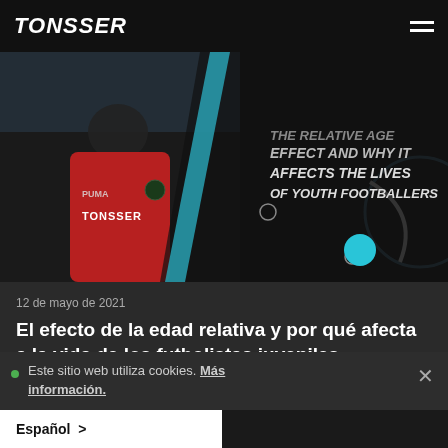TONSSER
[Figure (photo): Youth footballer wearing a red Tonsser jersey with Puma logo and green badge, standing in front of a sports field. Overlaid text reads: THE RELATIVE AGE EFFECT AND WHY IT AFFECTS THE LIVES OF YOUTH FOOTBALLERS. Dark background with cyan/blue graphic elements and decorative circles.]
12 de mayo de 2021
El efecto de la edad relativa y por qué afecta a la vida de los futbolistas juveniles
Este sitio web utiliza cookies. Más información.
Español >